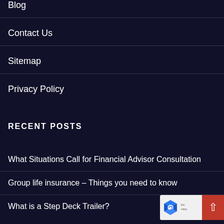Blog
Contact Us
Sitemap
Privacy Policy
RECENT POSTS
What Situations Call for Financial Advisor Consultation
Group life insurance – Things you need to know
What is a Step Deck Trailer?